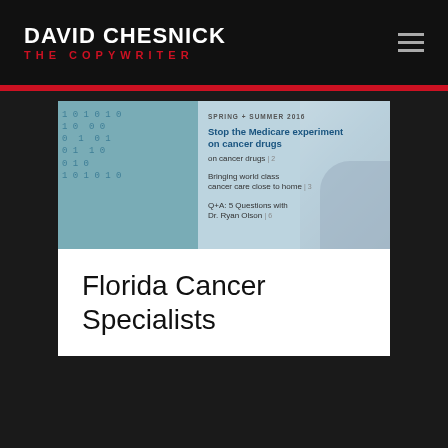DAVID CHESNICK THE COPYWRITER
[Figure (screenshot): Newsletter cover image showing binary code background with text: SPRING + SUMMER 2016, Stop the Medicare experiment on cancer drugs | 2, Bringing world class cancer care close to home | 3, Q+A: 5 Questions with Dr. Ryan Olson | 6]
Florida Cancer Specialists